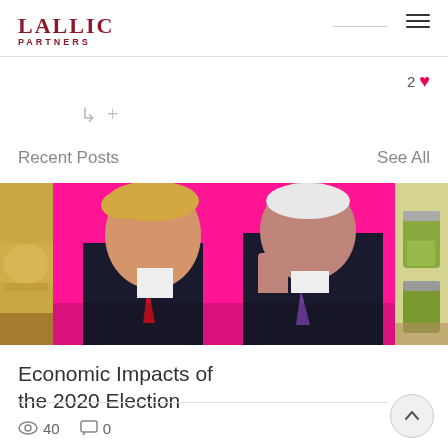LALLIC PARTNERS
2 ♥
Recent Posts
See All
[Figure (photo): Carousel of blog post thumbnails. Center image shows two men (Trump and Biden) on a bright pink/magenta background, with partial food images on either side.]
Economic Impacts of the 2020 Election
40 views, 0 comments